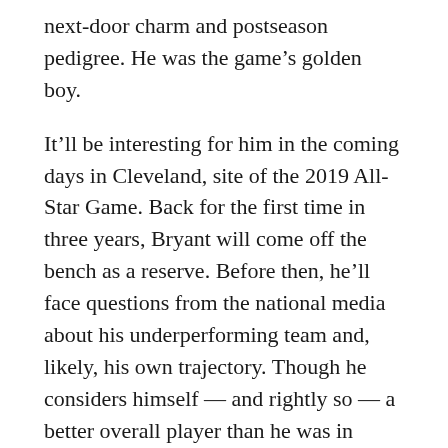next-door charm and postseason pedigree. He was the game’s golden boy.
It’ll be interesting for him in the coming days in Cleveland, site of the 2019 All-Star Game. Back for the first time in three years, Bryant will come off the bench as a reserve. Before then, he’ll face questions from the national media about his underperforming team and, likely, his own trajectory. Though he considers himself — and rightly so — a better overall player than he was in 2016, he isn’t quite the “it” player in all of baseball that he once was.
“I actually think I’ll be able to enjoy it more,” he said. “The first couple All-Star Games were kind of, like, such a whirlwind with [the Cubs] coming up and